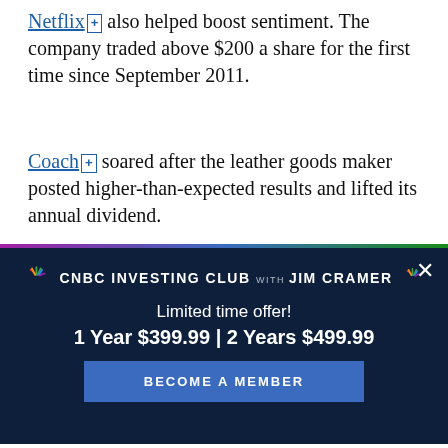Netflix [+] also helped boost sentiment. The company traded above $200 a share for the first time since September 2011.
Coach [+] soared after the leather goods maker posted higher-than-expected results and lifted its annual dividend.
(Read More: Earnings Flash Warning Sign for
[Figure (other): CNBC Investing Club with Jim Cramer modal advertisement. Limited time offer! 1 Year $399.99 | 2 Years $499.99. BECOME A MEMBER button.]
CNBC logo | Facebook | Twitter | LinkedIn | Email